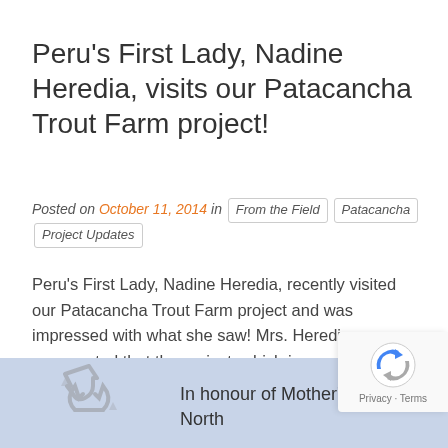Peru's First Lady, Nadine Heredia, visits our Patacancha Trout Farm project!
Posted on October 11, 2014 in  From the Field  Patacancha  Project Updates
Peru's First Lady, Nadine Heredia, recently visited our Patacancha Trout Farm project and was impressed with what she saw! Mrs. Heredia commented that the project, which incorporates nutritious school lunches supplied by the school in a sustainable manner while monitoring the nutritional levels and academic performance of the students, is an impressive innovation that the national government is [...]
In honour of Mother's Day in North